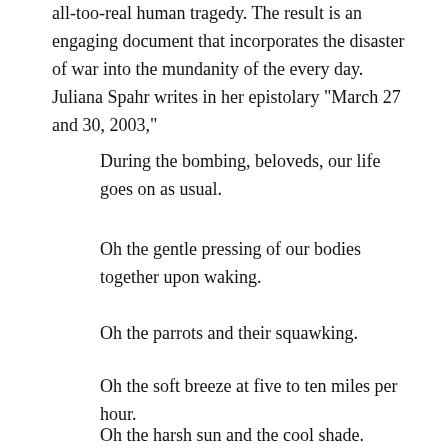all-too-real human tragedy. The result is an engaging document that incorporates the disaster of war into the mundanity of the every day. Juliana Spahr writes in her epistolary "March 27 and 30, 2003,"
During the bombing, beloveds, our life goes on as usual.
Oh the gentle pressing of our bodies together upon waking.
Oh the parrots and their squawking.
Oh the soft breeze at five to ten miles per hour.
Oh the harsh sun and the cool shade.